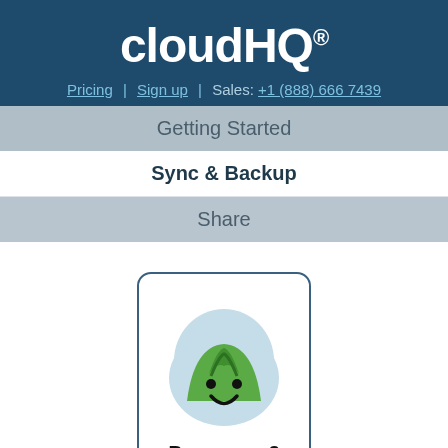cloudHQ®
Pricing | Sign up | Sales: +1 (888) 666 7439
Getting Started
Sync & Backup
Share
[Figure (logo): Basecamp 3 logo: a kawaii-style mountain character with light blue blob background, green mountain shape, eyes and smile, labeled 'Basecamp 3']